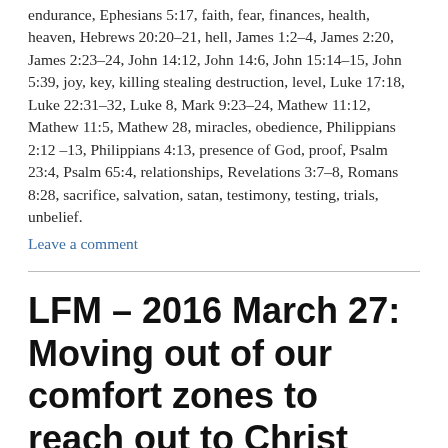endurance, Ephesians 5:17, faith, fear, finances, health, heaven, Hebrews 20:20–21, hell, James 1:2–4, James 2:20, James 2:23–24, John 14:12, John 14:6, John 15:14–15, John 5:39, joy, key, killing stealing destruction, level, Luke 17:18, Luke 22:31–32, Luke 8, Mark 9:23–24, Mathew 11:12, Mathew 11:5, Mathew 28, miracles, obedience, Philippians 2:12 –13, Philippians 4:13, presence of God, proof, Psalm 23:4, Psalm 65:4, relationships, Revelations 3:7–8, Romans 8:28, sacrifice, salvation, satan, testimony, testing, trials, unbelief.
Leave a comment
LFM – 2016 March 27: Moving out of our comfort zones to reach out to Christ Jesus – Woman with issue of blood.